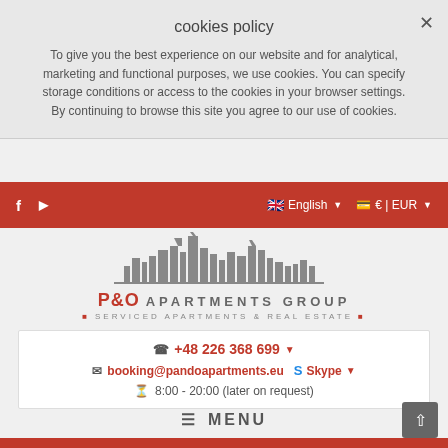cookies policy
To give you the best experience on our website and for analytical, marketing and functional purposes, we use cookies. You can specify storage conditions or access to the cookies in your browser settings. By continuing to browse this site you agree to our use of cookies.
f  ▶  🇬🇧 English ▾  💳 € | EUR ▾
[Figure (logo): P&O Apartments Group logo with city skyline silhouette above the text. Logo reads: P&O APARTMENTS GROUP • SERVICED APARTMENTS & REAL ESTATE •]
📞 +48 226 368 699 ▾
✉ booking@pandoapartments.eu   S Skype ▾
⏱ 8:00 - 20:00 (later on request)
≡ MENU